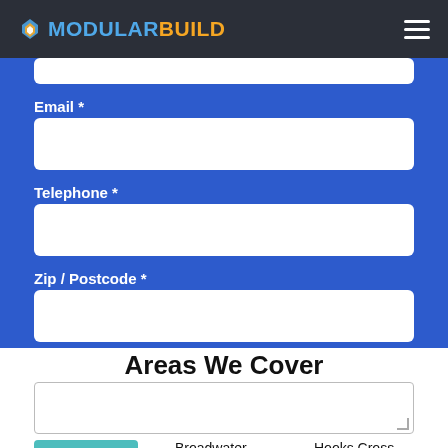MODULARBUILD
Email *
Telephone *
Zip / Postcode *
Areas We Cover
Aston End
Broadwater
Hooks Cross
Benington
Chells
Knebworth